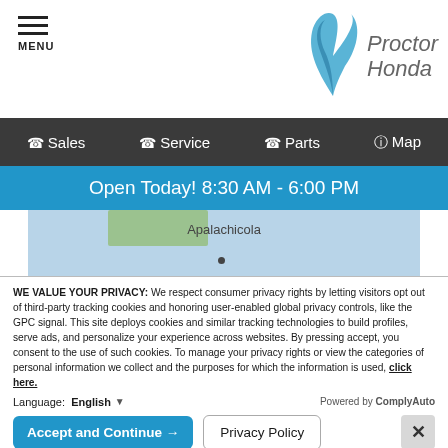[Figure (logo): Proctor Honda logo with stylized P/wing mark and text]
MENU
Sales  Service  Parts  Map
Open Today! 8:30 AM - 6:00 PM
[Figure (map): Map showing Apalachicola area]
Proctor Honda is located just under 2 hours from Panama City, FL by car! To reach our Honda Dealer near Panama City, take US-231 through Youngston, before connecting to I-20 and heading
WE VALUE YOUR PRIVACY: We respect consumer privacy rights by letting visitors opt out of third-party tracking cookies and honoring user-enabled global privacy controls, like the GPC signal. This site deploys cookies and similar tracking technologies to build profiles, serve ads, and personalize your experience across websites. By pressing accept, you consent to the use of such cookies. To manage your privacy rights or view the categories of personal information we collect and the purposes for which the information is used, click here.
Language:  English
Powered by ComplyAuto
Accept and Continue →
Privacy Policy
×